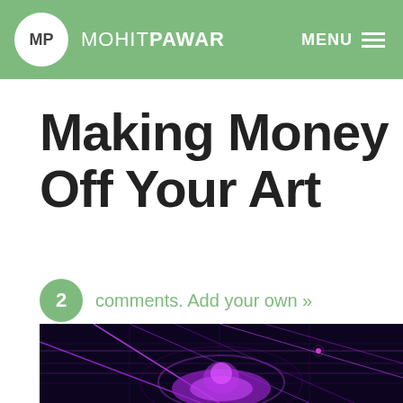MP MOHITPAWAR MENU
Making Money Off Your Art
2 comments. Add your own »
MAY 12 2019
[Figure (photo): Dark background with neon purple/pink glowing geometric art installation, showing a figure amid illuminated grid lines]